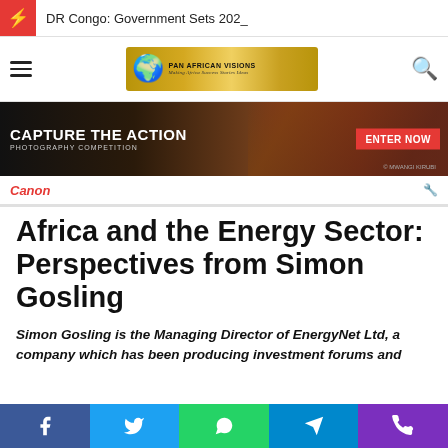DR Congo: Government Sets 202_
[Figure (logo): Pan African Visions logo with Africa silhouette on golden background]
[Figure (photo): Canon photography competition banner - Capture The Action, Photography Competition, Enter Now, featuring a rally car]
Africa and the Energy Sector: Perspectives from Simon Gosling
Simon Gosling is the Managing Director of EnergyNet Ltd, a company which has been producing investment forums and